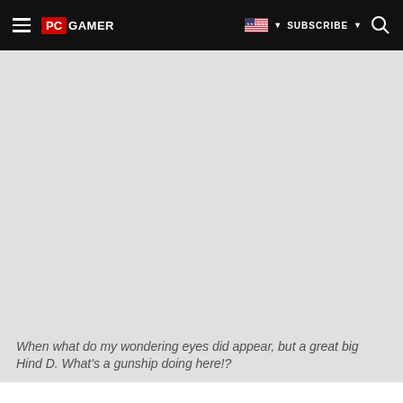PC GAMER | SUBSCRIBE
[Figure (photo): Large light gray image placeholder area representing a game screenshot]
When what do my wondering eyes did appear, but a great big Hind D. What's a gunship doing here!?